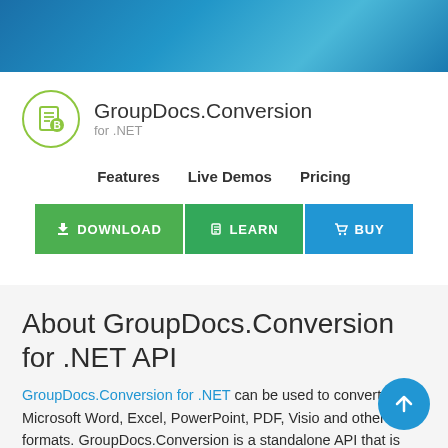[Figure (logo): GroupDocs.Conversion for .NET logo with green circle icon and text]
Features   Live Demos   Pricing
[Figure (infographic): Three action buttons: DOWNLOAD (green), LEARN (green), BUY (blue)]
About GroupDocs.Conversion for .NET API
GroupDocs.Conversion for .NET can be used to convert Microsoft Word, Excel, PowerPoint, PDF, Visio and other formats. GroupDocs.Conversion is a standalone API that is suitable for back-end and internal systems where high performance is required. It does not depend on any